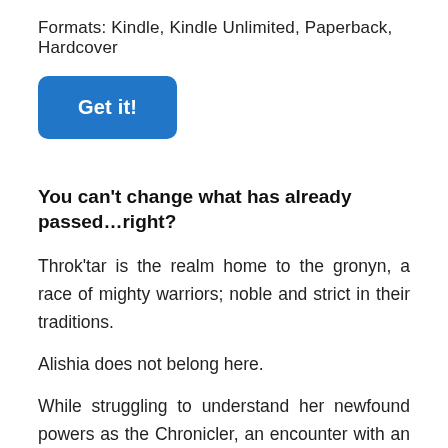Formats: Kindle, Kindle Unlimited, Paperback, Hardcover
[Figure (other): Blue rounded button labeled 'Get it!']
You can't change what has already passed…right?
Throk'tar is the realm home to the gronyn, a race of mighty warriors; noble and strict in their traditions.
Alishia does not belong here.
While struggling to understand her newfound powers as the Chronicler, an encounter with an unlikely adversary throws Alishia into the distant past of Throk'tar. She journeys across the hostile land alongside bickering brothers, hunting the one that brought her to this realm